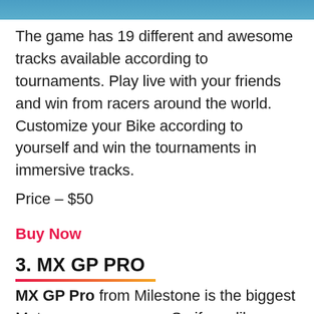[Figure (photo): Partial image visible at top of page, appears to be a motocross or racing game screenshot with blue tones]
The game has 19 different and awesome tracks available according to tournaments. Play live with your friends and win from racers around the world. Customize your Bike according to yourself and win the tournaments in immersive tracks.
Price – $50
Buy Now
3. MX GP PRO
MX GP Pro from Milestone is the biggest Motocross game ever. So if you like motocross racing or off-road racing games then this is the